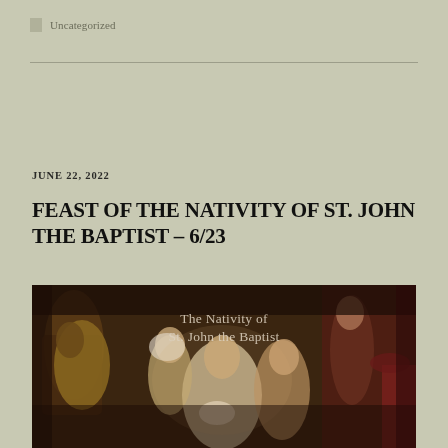Uncategorized
JUNE 22, 2022
FEAST OF THE NATIVITY OF ST. JOHN THE BAPTIST – 6/23
[Figure (illustration): A classical painting depicting The Nativity of St. John the Baptist, showing multiple figures in a dark interior scene. Text overlay reads 'The Nativity of St. John the Baptist'.]